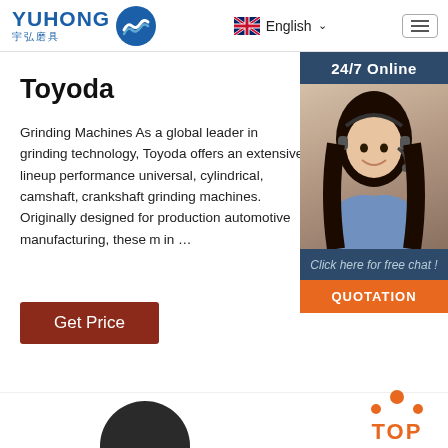YUHONG 宇弘磨具 | English
Toyoda
Grinding Machines As a global leader in grinding technology, Toyoda offers an extensive lineup performance universal, cylindrical, camshaft, crankshaft grinding machines. Originally designed for production automotive manufacturing, these in …
[Figure (photo): Customer service representative woman with headset smiling, with 24/7 Online bar and chat widget]
Click here for free chat !
QUOTATION
[Figure (illustration): TOP button with orange dots arranged in arc above TOP text in orange]